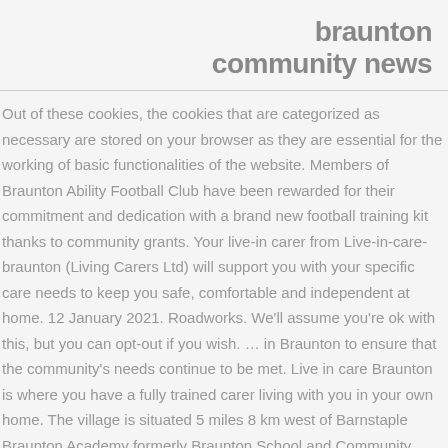braunton community news
Out of these cookies, the cookies that are categorized as necessary are stored on your browser as they are essential for the working of basic functionalities of the website. Members of Braunton Ability Football Club have been rewarded for their commitment and dedication with a brand new football training kit thanks to community grants. Your live-in carer from Live-in-care-braunton (Living Carers Ltd) will support you with your specific care needs to keep you safe, comfortable and independent at home. 12 January 2021. Roadworks. We'll assume you're ok with this, but you can opt-out if you wish. ... in Braunton to ensure that the community's needs continue to be met. Live in care Braunton is where you have a fully trained carer living with you in your own home. The village is situated 5 miles 8 km west of Barnstaple Braunton Academy formerly Braunton School and Community College is